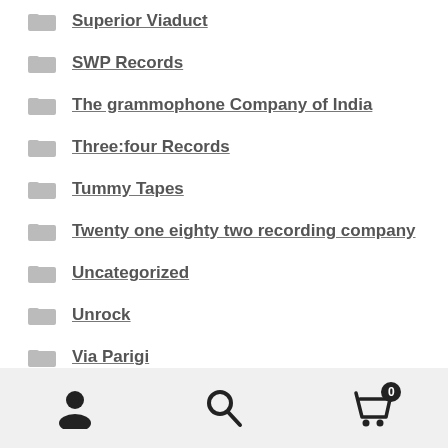Superior Viaduct
SWP Records
The grammophone Company of India
Three:four Records
Tummy Tapes
Twenty one eighty two recording company
Uncategorized
Unrock
Via Parigi
Vishra Records
W.25TH
User | Search | Cart (0)